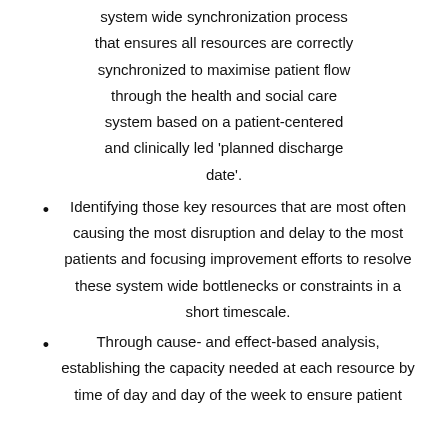system wide synchronization process that ensures all resources are correctly synchronized to maximise patient flow through the health and social care system based on a patient-centered and clinically led 'planned discharge date'.
Identifying those key resources that are most often causing the most disruption and delay to the most patients and focusing improvement efforts to resolve these system wide bottlenecks or constraints in a short timescale.
Through cause- and effect-based analysis, establishing the capacity needed at each resource by time of day and day of the week to ensure patient